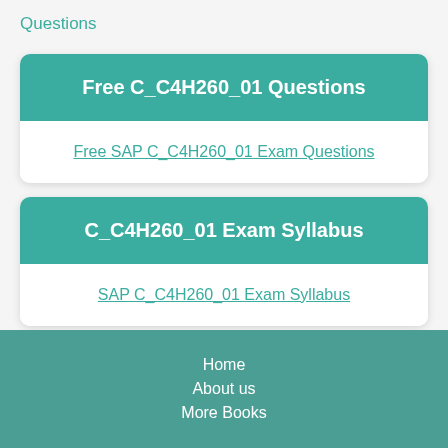Questions
Free C_C4H260_01 Questions
Free SAP C_C4H260_01 Exam Questions
C_C4H260_01 Exam Syllabus
SAP C_C4H260_01 Exam Syllabus
Home
About us
More Books